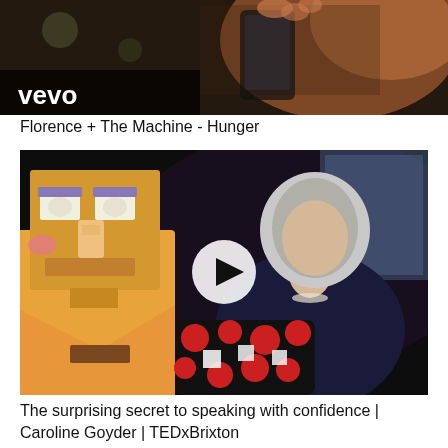[Figure (screenshot): Video thumbnail showing a person holding a phone, with 'vevo' logo in white text on black background in bottom-left corner. Dark and blurred background with orange/warm tones.]
Florence + The Machine - Hunger
[Figure (screenshot): Video thumbnail of a TED talk showing a woman with short blonde/grey hair on a dark stage, holding a colorful puppet/toy with red dots. A white play button circle is overlaid in the center. On the left is a cardboard-like puppet face with exaggerated features.]
The surprising secret to speaking with confidence | Caroline Goyder | TEDxBrixton